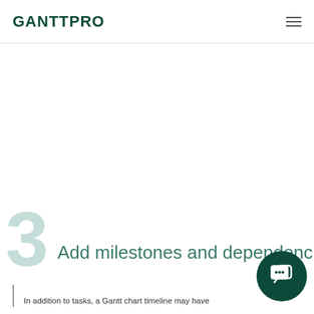GANTTPRO
Add milestones and dependenci…
In addition to tasks, a Gantt chart timeline may have